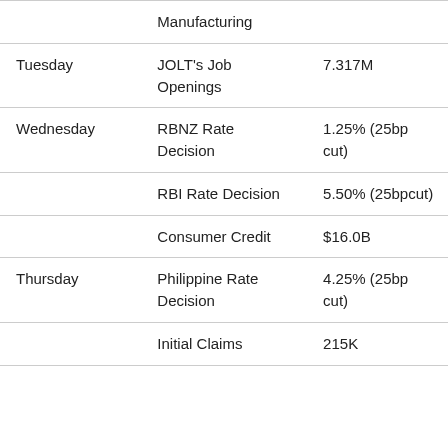| Day | Event | Value |
| --- | --- | --- |
|  | Manufacturing |  |
| Tuesday | JOLT's Job Openings | 7.317M |
| Wednesday | RBNZ Rate Decision | 1.25% (25bp cut) |
|  | RBI Rate Decision | 5.50% (25bpcut) |
|  | Consumer Credit | $16.0B |
| Thursday | Philippine Rate Decision | 4.25% (25bp cut) |
|  | Initial Claims | 215K |